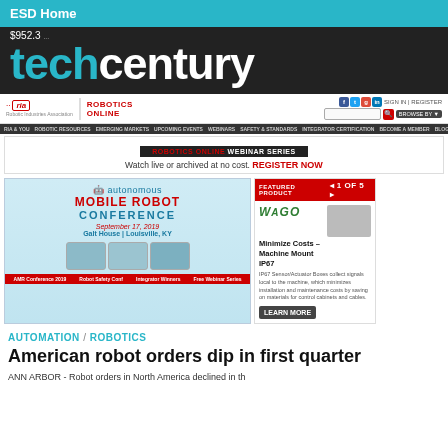ESD Home
techcentury
[Figure (screenshot): Robotics Industries Association (RIA) Robotics Online website screenshot showing navigation bar, webinar banner, and Autonomous Mobile Robot Conference 2019 advertisement with a featured WAGO product sidebar]
AUTOMATION / ROBOTICS
American robot orders dip in first quarter
ANN ARBOR - Robot orders in North America declined in th